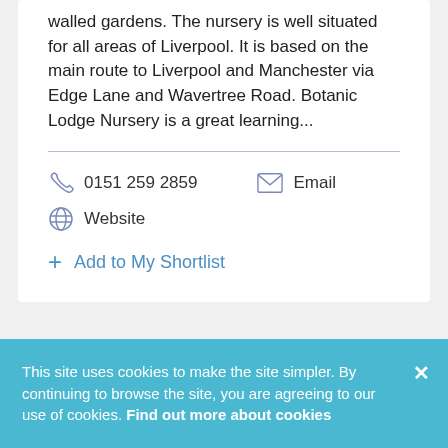walled gardens. The nursery is well situated for all areas of Liverpool. It is based on the main route to Liverpool and Manchester via Edge Lane and Wavertree Road. Botanic Lodge Nursery is a great learning...
0151 259 2859   Email   Website
+ Add to My Shortlist
This site uses cookies to make the site simpler. By continuing to browse the site, you are agreeing to our use of cookies. Find out more about cookies